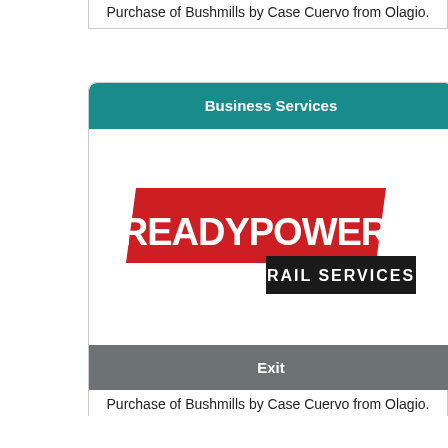Purchase of Bushmills by Case Cuervo from Olagio.
Business Services
[Figure (logo): READYPOWER RAIL SERVICES logo — red parallelogram banner with bold white text 'READYPOWER' and a dark grey rectangle with white text 'RAIL SERVICES']
Exit
Purchase of Bushmills by Case Cuervo from Olagio.